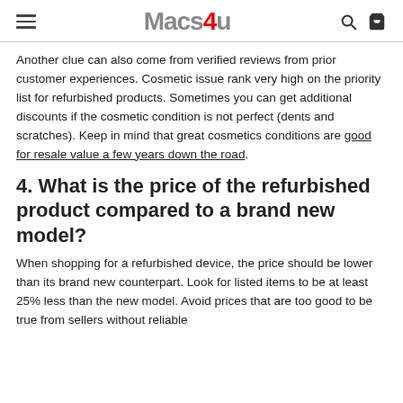Macs4u
Another clue can also come from verified reviews from prior customer experiences. Cosmetic issue rank very high on the priority list for refurbished products. Sometimes you can get additional discounts if the cosmetic condition is not perfect (dents and scratches). Keep in mind that great cosmetics conditions are good for resale value a few years down the road.
4. What is the price of the refurbished product compared to a brand new model?
When shopping for a refurbished device, the price should be lower than its brand new counterpart. Look for listed items to be at least 25% less than the new model. Avoid prices that are too good to be true from sellers without reliable